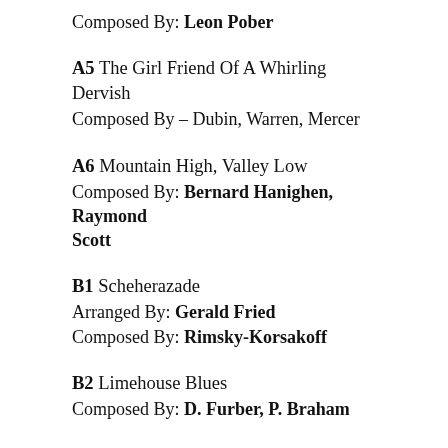Composed By: Leon Pober
A5 The Girl Friend Of A Whirling Dervish
Composed By – Dubin, Warren, Mercer
A6 Mountain High, Valley Low
Composed By: Bernard Hanighen, Raymond Scott
B1 Scheherazade
Arranged By: Gerald Fried
Composed By: Rimsky-Korsakoff
B2 Limehouse Blues
Composed By: D. Furber, P. Braham